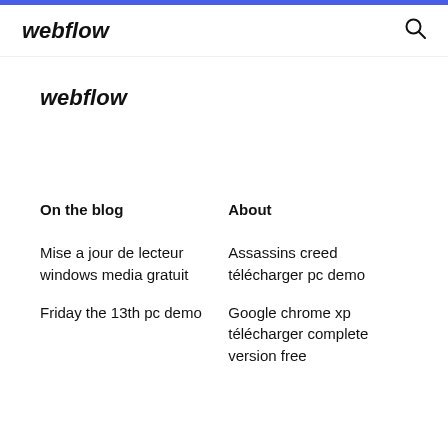webflow
webflow
On the blog
About
Mise a jour de lecteur windows media gratuit
Assassins creed télécharger pc demo
Friday the 13th pc demo
Google chrome xp télécharger complete version free